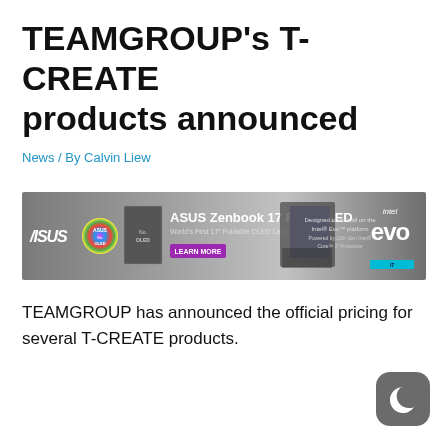TEAMGROUP's T-CREATE products announced
News / By Calvin Liew
[Figure (other): ASUS Zenbook 17 Fold OLED advertisement banner showing laptop, ASUS logo, colorful OLED badge, Intel Evo branding, and a Learn More button]
TEAMGROUP has announced the official pricing for several T-CREATE products.